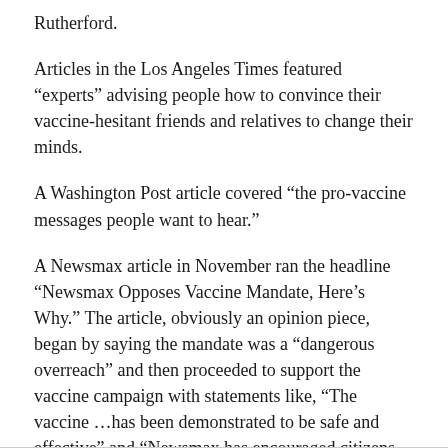Rutherford.
Articles in the Los Angeles Times featured “experts” advising people how to convince their vaccine-hesitant friends and relatives to change their minds.
A Washington Post article covered “the pro-vaccine messages people want to hear.”
A Newsmax article in November ran the headline “Newsmax Opposes Vaccine Mandate, Here’s Why.” The article, obviously an opinion piece, began by saying the mandate was a “dangerous overreach” and then proceeded to support the vaccine campaign with statements like, “The vaccine …has been demonstrated to be safe and effective” and “Newsmax has encouraged citizens, especially those at risk, to get immunized.”